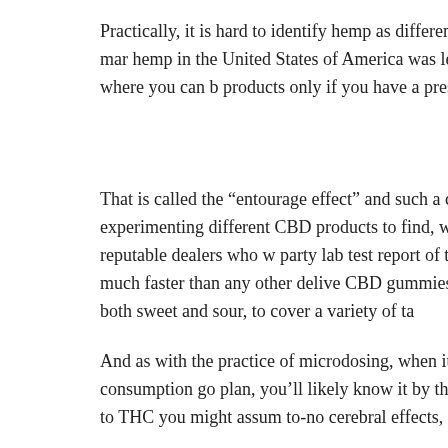Practically, it is hard to identify hemp as different from marijuana. The the amount of THC – hemp has lower amounts of it compared to mar hemp in the United States of America was legalized with the 2014 Farm can buy it in all states. However, there are some states where you can products only if you have a prescription.
That is called the “entourage effect” and such a combination will creat the sum of both these constituents. So, it will be worth experimenting different CBD products to find, which one feels the best to you. Theref always prefer to buy CBD products from any reputable dealers who w party lab test report of their products. With vaping and smoking, the a may create more effect on the brain much faster than any other delive CBD gummies, which often sell out because of how popular they are, pure CBD isolate. They are both sweet and sour, to cover a variety of ta
And as with the practice of microdosing, when it comes with CBD, the aren’t necessarily things you even notice. If your CBD consumption go plan, you’ll likely know it by the subtle fading of whatever ails you. Beca considered nonpsychoactive when compared to THC you might assum to-no cerebral effects, at least at a noticeable threshold. But as we’ve s